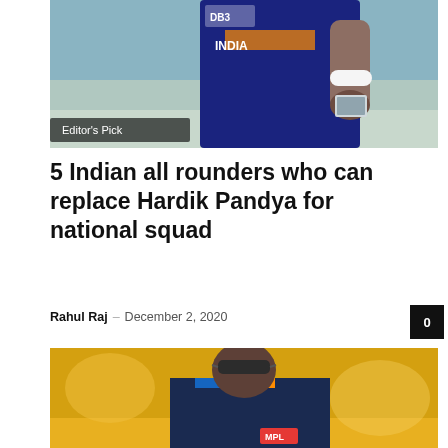[Figure (photo): Cricket player in Indian team jersey holding something, Editor's Pick label overlay]
Editor's Pick
5 Indian all rounders who can replace Hardik Pandya for national squad
Rahul Raj – December 2, 2020
[Figure (photo): Indian cricket player wearing sunglasses and MPL jersey on field with yellow background]
Advertisement
[Figure (infographic): Telegram channel advertisement banner in blue with Hindi text: लेटेस्ट अपडेट हमारे टेलीग्राम चैनल पर, with JOIN NOW button]